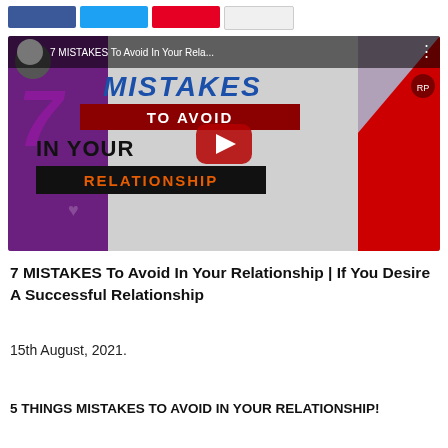[Figure (screenshot): Social media share buttons: Facebook (blue), Twitter (cyan), Pinterest (red), Email (white/grey)]
[Figure (screenshot): YouTube video thumbnail embed: '7 MISTAKES To Avoid In Your Rela...' with red play button overlay. Thumbnail shows colorful graphic with text '7 MISTAKES TO AVOID IN YOUR RELATIONSHIP' and couple photos.]
7 MISTAKES To Avoid In Your Relationship | If You Desire A Successful Relationship
15th August, 2021.
5 THINGS MISTAKES TO AVOID IN YOUR RELATIONSHIP!